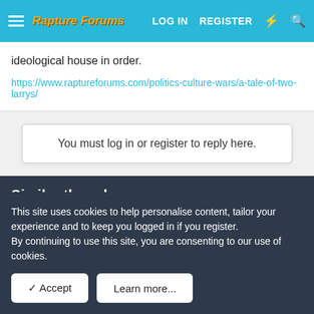Rapture Forums — LOG IN  REGISTER
ideological house in order.
https://www.raptureforums.com/politics-culture-wars/a-tale-of-two-larrys/
You must log in or register to reply here.
Similar threads
Fatal Bureau of Investigation Marks a Milestone
Chris · End Times Politics and the Culture Wars
This site uses cookies to help personalise content, tailor your experience and to keep you logged in if you register.
By continuing to use this site, you are consenting to our use of cookies.